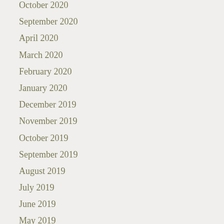October 2020
September 2020
April 2020
March 2020
February 2020
January 2020
December 2019
November 2019
October 2019
September 2019
August 2019
July 2019
June 2019
May 2019
April 2019
March 2019